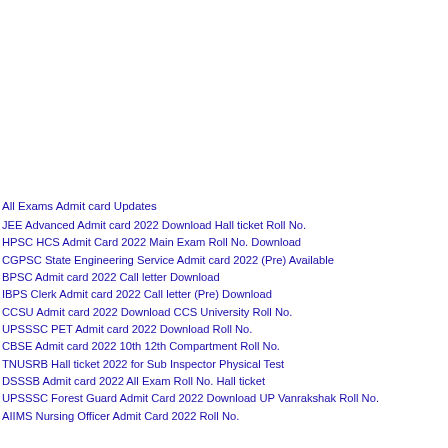All Exams Admit card Updates
JEE Advanced Admit card 2022 Download Hall ticket Roll No.
HPSC HCS Admit Card 2022 Main Exam Roll No. Download
CGPSC State Engineering Service Admit card 2022 (Pre) Available
BPSC Admit card 2022 Call letter Download
IBPS Clerk Admit card 2022 Call letter (Pre) Download
CCSU Admit card 2022 Download CCS University Roll No.
UPSSSC PET Admit card 2022 Download Roll No.
CBSE Admit card 2022 10th 12th Compartment Roll No.
TNUSRB Hall ticket 2022 for Sub Inspector Physical Test
DSSSB Admit card 2022 All Exam Roll No. Hall ticket
UPSSSC Forest Guard Admit Card 2022 Download UP Vanrakshak Roll No.
AIIMS Nursing Officer Admit Card 2022 Roll No.